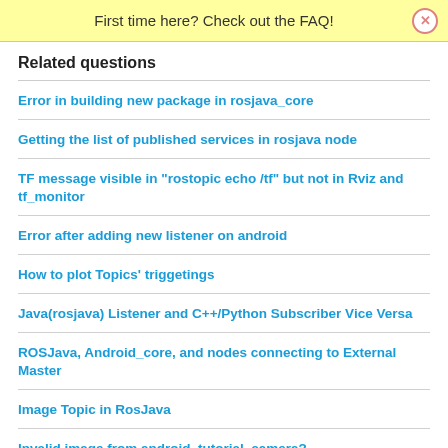First time here? Check out the FAQ!
Related questions
Error in building new package in rosjava_core
Getting the list of published services in rosjava node
TF message visible in "rostopic echo /tf" but not in Rviz and tf_monitor
Error after adding new listener on android
How to plot Topics' triggetings
Java(rosjava) Listener and C++/Python Subscriber Vice Versa
ROSJava, Android_core, and nodes connecting to External Master
Image Topic in RosJava
Invalid image from android_tutorial_camera?
how to save an sensor_msgs/Image to a file?